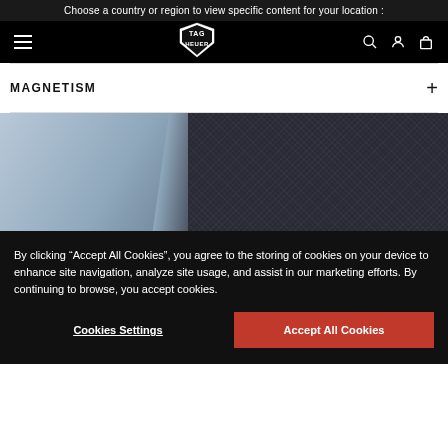Choose a country or region to view specific content for your location :
[Figure (logo): TAG Heuer navigation bar with hamburger menu, TAG Heuer shield logo, search icon, user icon, and bag icon on black background]
MAGNETISM
[Figure (photo): Close-up abstract image split between a pale blue-gray background on the left and dark navy textured fabric on the right, with a diagonal transition element]
By clicking “Accept All Cookies”, you agree to the storing of cookies on your device to enhance site navigation, analyze site usage, and assist in our marketing efforts. By continuing to browse, you accept cookies.
Cookies Settings
Accept All Cookies